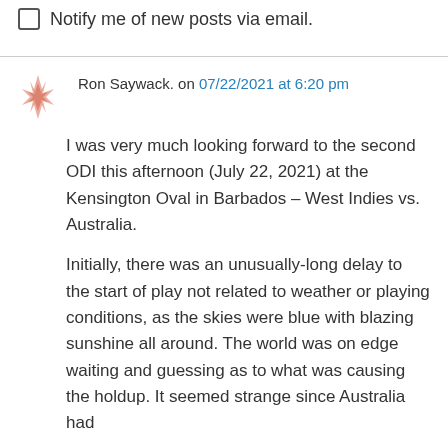Notify me of new posts via email.
Ron Saywack. on 07/22/2021 at 6:20 pm
I was very much looking forward to the second ODI this afternoon (July 22, 2021) at the Kensington Oval in Barbados – West Indies vs. Australia.
Initially, there was an unusually-long delay to the start of play not related to weather or playing conditions, as the skies were blue with blazing sunshine all around. The world was on edge waiting and guessing as to what was causing the holdup. It seemed strange since Australia had